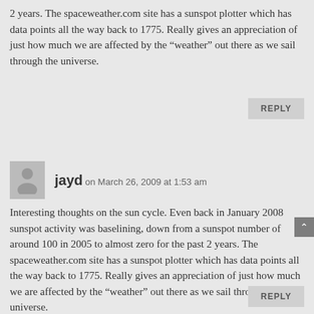2 years. The spaceweather.com site has a sunspot plotter which has data points all the way back to 1775. Really gives an appreciation of just how much we are affected by the “weather” out there as we sail through the universe.
REPLY
jayd on March 26, 2009 at 1:53 am
Interesting thoughts on the sun cycle. Even back in January 2008
sunspot activity was baselining, down from a sunspot number of around 100 in 2005 to almost zero for the past 2 years. The spaceweather.com site has a sunspot plotter which has data points all the way back to 1775. Really gives an appreciation of just how much we are affected by the “weather” out there as we sail through the universe.
REPLY